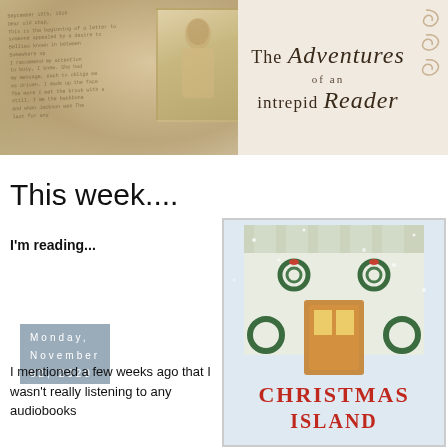[Figure (illustration): Blog header banner with vintage sepia-toned journal/letter and old photograph on the left, decorative text on the right reading 'The Adventures of an intrepid Reader' in cursive serif font with ornamental swirl decorations]
Monday, November 02, 2020
This week....
I'm reading...
[Figure (illustration): Book cover for 'Christmas Island' showing a decorated house exterior with Christmas wreaths, lights, snowy scene, and festive decorations. Title text 'CHRISTMAS ISLAND' in red at the bottom.]
I mentioned a few weeks ago that I wasn't really listening to any audiobooks